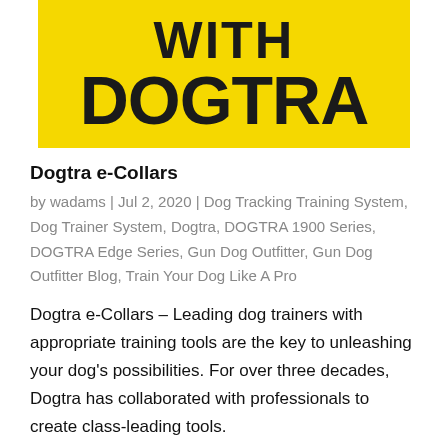[Figure (illustration): Yellow banner with bold black text reading 'WITH DOGTRA' (with 'WITH' partially cropped at top)]
Dogtra e-Collars
by wadams | Jul 2, 2020 | Dog Tracking Training System, Dog Trainer System, Dogtra, DOGTRA 1900 Series, DOGTRA Edge Series, Gun Dog Outfitter, Gun Dog Outfitter Blog, Train Your Dog Like A Pro
Dogtra e-Collars – Leading dog trainers with appropriate training tools are the key to unleashing your dog's possibilities. For over three decades, Dogtra has collaborated with professionals to create class-leading tools.